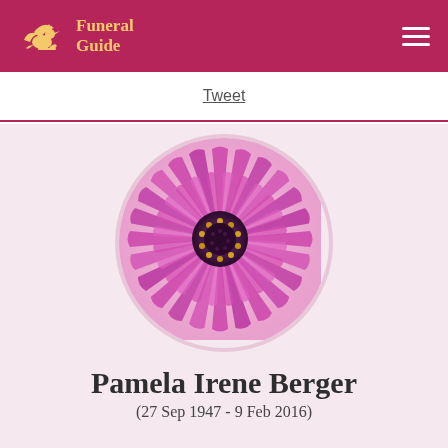Funeral Guide
Tweet
[Figure (photo): Close-up circular photo of a purple/pink daisy flower with yellow and dark center stamens, used as memorial profile image for Pamela Irene Berger]
Pamela Irene Berger
(27 Sep 1947 - 9 Feb 2016)